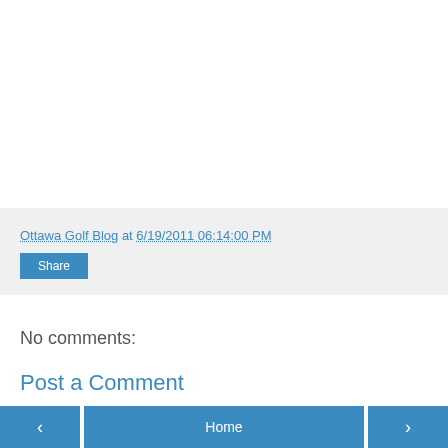Ottawa Golf Blog at 6/19/2011 06:14:00 PM
Share
No comments:
Post a Comment
‹  Home  ›